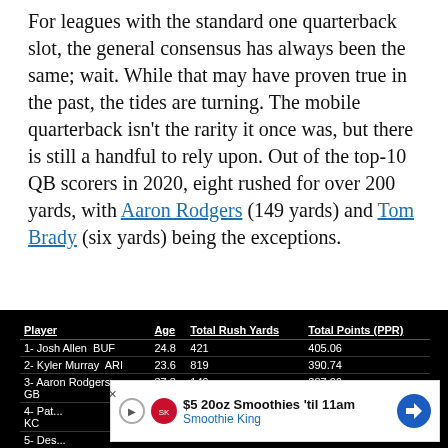For leagues with the standard one quarterback slot, the general consensus has always been the same; wait. While that may have proven true in the past, the tides are turning. The mobile quarterback isn't the rarity it once was, but there is still a handful to rely upon. Out of the top-10 QB scorers in 2020, eight rushed for over 200 yards, with Aaron Rodgers (149 yards) and Tom Brady (six yards) being the exceptions.
| Player | Age | Total Rush Yards | Total Points (PPR) |
| --- | --- | --- | --- |
| 1- Josh Allen  BUF | 24.8 | 421 | 405.06 |
| 2- Kyler Murray  ARI | 23.6 | 819 | 390.74 |
| 3- Aaron Rodgers GB | 37.3 | 149 | 387.26 |
| 4- Pat... KC |  |  |  |
| 5- Des... HOU |  |  |  |